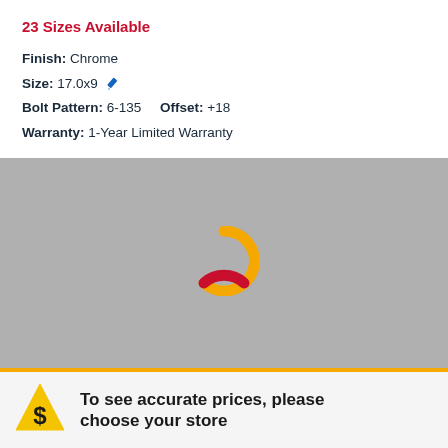23 Sizes Available
Finish: Chrome
Size: 17.0x9
Bolt Pattern: 6-135   Offset: +18
Warranty: 1-Year Limited Warranty
[Figure (other): Gray image loading placeholder with a yellow and red circular spinner in the center]
To see accurate prices, please choose your store